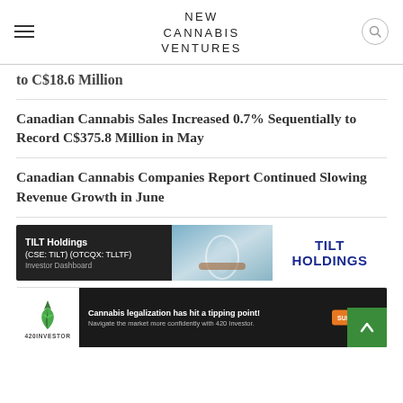NEW CANNABIS VENTURES
to C$18.6 Million
Canadian Cannabis Sales Increased 0.7% Sequentially to Record C$375.8 Million in May
Canadian Cannabis Companies Report Continued Slowing Revenue Growth in June
[Figure (infographic): TILT Holdings advertisement banner: left side dark background with company name 'TILT Holdings (CSE: TILT) (OTCQX: TLLTF) Investor Dashboard', center shows glassware/product imagery, right side white background with bold 'TILT HOLDINGS' text in blue]
[Figure (infographic): 420 Investor advertisement: left shows 420INVESTOR logo with green cannabis leaf, right dark background with text 'Cannabis legalization has hit a tipping point! Navigate the market more confidently with 420 Investor.' and orange SUBSCRIBE button. Green back-to-top arrow button in bottom right corner.]